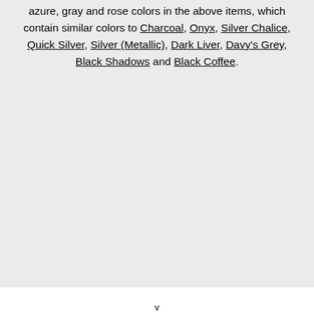azure, gray and rose colors in the above items, which contain similar colors to Charcoal, Onyx, Silver Chalice, Quick Silver, Silver (Metallic), Dark Liver, Davy's Grey, Black Shadows and Black Coffee.
v